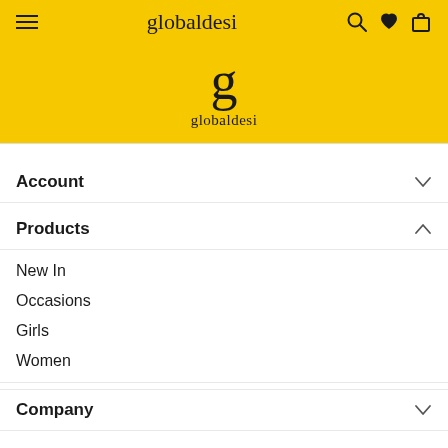globaldesi
[Figure (logo): Global Desi brand logo: large lowercase g with 'globaldesi' text below, on yellow background]
Account
Products
New In
Occasions
Girls
Women
Company
Help